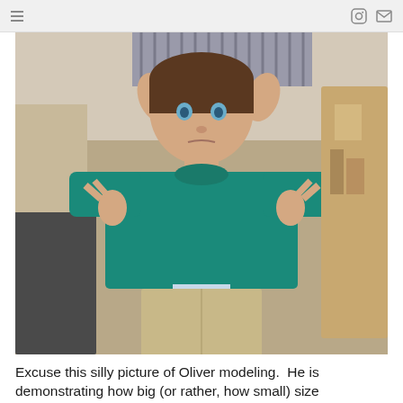[navigation menu] [instagram icon] [email icon]
[Figure (photo): A young boy wearing a teal/green t-shirt that appears small, khaki shorts, and brown sandals, standing in what appears to be a classroom or similar room, holding out the shirt with both hands to demonstrate its size. An adult is visible behind him.]
Excuse this silly picture of Oliver modeling.  He is demonstrating how big (or rather, how small) size